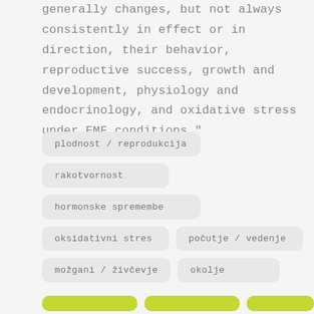generally changes, but not always consistently in effect or in direction, their behavior, reproductive success, growth and development, physiology and endocrinology, and oxidative stress under EMF conditions."
plodnost / reprodukcija
rakotvornost
hormonske spremembe
oksidativni stres
počutje / vedenje
možgani / živčevje
okolje